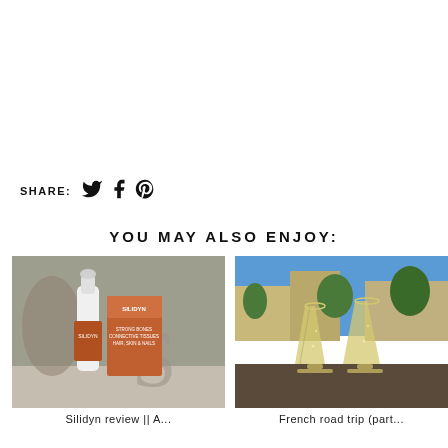SHARE:
[Figure (infographic): Social media share icons: Twitter bird, Facebook f, Pinterest P]
YOU MAY ALSO ENJOY:
[Figure (photo): Silidyn supplement product bottle and box with brown packaging]
Silidyn review || A...
[Figure (photo): Two champagne flutes on an outdoor table in a French city square]
French road trip (part...